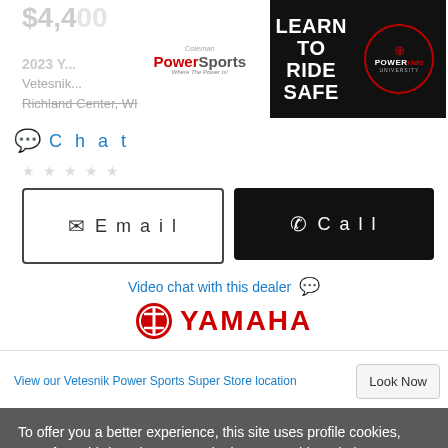$4,400
[Figure (illustration): Coleman PowerSports advertisement banner - Learn to Ride Safe with PowerRide University logo]
2023 Y...
Vetesnik...
Richland Center, WI
Chat
Email
Call
Video chat with this dealer
[Figure (logo): Yamaha logo - red tuning fork emblem with YAMAHA text in red]
View our Vetesnik Power Sports Super Store location
Look Now
To offer you a better experience, this site uses profile cookies, even from third parties. By continuing to use this website you consent to the use of cookies. For more information or to select your preferences consult our Privacy Policy
Cookie Settings
✓ OK